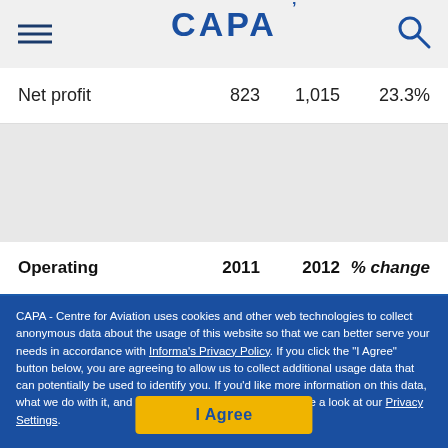CAPA
|  | 2011 | 2012 | % change |
| --- | --- | --- | --- |
| Net profit | 823 | 1,015 | 23.3% |
| Operating | 2011 | 2012 | % change |
| --- | --- | --- | --- |
CAPA - Centre for Aviation uses cookies and other web technologies to collect anonymous data about the usage of this website so that we can better serve your needs in accordance with Informa's Privacy Policy. If you click the "I Agree" button below, you are agreeing to allow us to collect additional usage data that can potentially be used to identify you. If you'd like more information on this data, what we do with it, and more granular controls, please take a look at our Privacy Settings.
I Agree